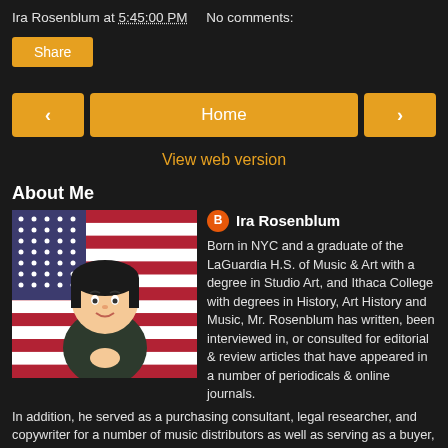Ira Rosenblum at 5:45:00 PM    No comments:
Share
‹    Home    ›
View web version
About Me
Ira Rosenblum
Born in NYC and a graduate of the LaGuardia H.S. of Music & Art with a degree in Studio Art, and Ithaca College with degrees in History, Art History and Music, Mr. Rosenblum has written, been interviewed in, or consulted for editorial & review articles that have appeared in a number of periodicals & online journals. In addition, he served as a purchasing consultant, legal researcher, and copywriter for a number of music distributors as well as serving as a buyer, section, & floor manager for various music retailers. In 2004, he consulted and authored sections of the critical work: "World Music: The Basics", and in 2008 turned his attention to his own writing – quickly completing the manuscripts for his first two novels. In 2011 he formed the screenplay writing entity Nevekari Enterprises. As the manager of Stubborn God Productions, his purview has included expanding Nevekari's scripts in the audio & visual aspects of media. As of 2021 he has edited over 60 promotional films, as well as recording over 400 music tracks, of which